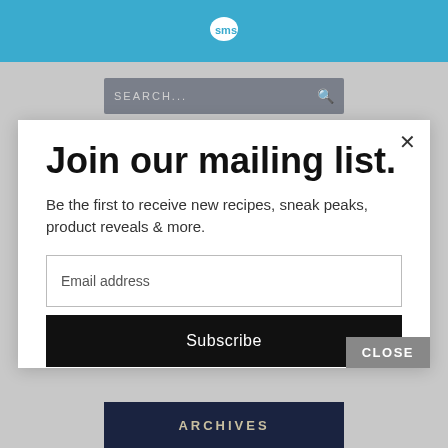[Figure (logo): SMS speech bubble logo in white on blue header bar]
[Figure (screenshot): Search bar with 'SEARCH...' placeholder and magnifying glass icon on gray background]
Join our mailing list.
Be the first to receive new recipes, sneak peaks, product reveals & more.
[Figure (screenshot): Email address input field]
[Figure (screenshot): Subscribe button (black background, white text)]
[Figure (screenshot): CLOSE button (gray background, white text)]
[Figure (screenshot): ARCHIVES navigation bar at bottom (dark navy background, light text)]